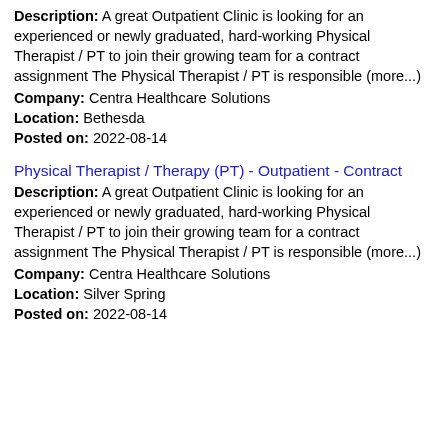Description: A great Outpatient Clinic is looking for an experienced or newly graduated, hard-working Physical Therapist / PT to join their growing team for a contract assignment The Physical Therapist / PT is responsible (more...)
Company: Centra Healthcare Solutions
Location: Bethesda
Posted on: 2022-08-14
Physical Therapist / Therapy (PT) - Outpatient - Contract
Description: A great Outpatient Clinic is looking for an experienced or newly graduated, hard-working Physical Therapist / PT to join their growing team for a contract assignment The Physical Therapist / PT is responsible (more...)
Company: Centra Healthcare Solutions
Location: Silver Spring
Posted on: 2022-08-14